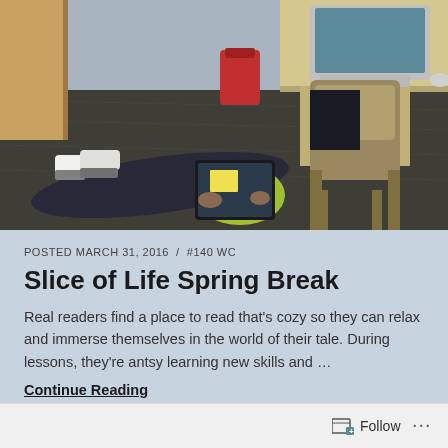[Figure (photo): Students in a classroom; one student is lying on the floor reading on a tablet while another student sits near desks. Classroom setting with carpet floor, chairs, desks, and a computer monitor visible in the background.]
POSTED MARCH 31, 2016 / #140 WC
Slice of Life Spring Break
Real readers find a place to read that’s cozy so they can relax and immerse themselves in the world of their tale. During lessons, they’re antsy learning new skills and …
Continue Reading